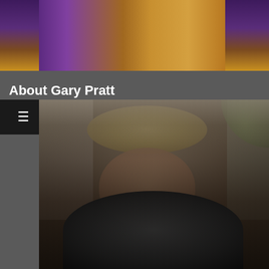[Figure (photo): Partial view of two people wearing colorful clothing (purple/yellow), cropped at top of page]
About Gary Pratt
[Figure (photo): Portrait photo of Gary Pratt, a man with medium-length blonde hair wearing a dark shirt, leaning against a stone wall with arms crossed]